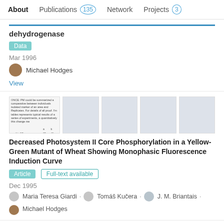About  Publications 135  Network  Projects 3
dehydrogenase
Data
Mar 1996
Michael Hodges
View
[Figure (screenshot): Thumbnail preview of a scientific paper with table data]
Decreased Photosystem II Core Phosphorylation in a Yellow-Green Mutant of Wheat Showing Monophasic Fluorescence Induction Curve
Article  Full-text available
Dec 1995
Maria Teresa Giardi · Tomáš Kučera · J. M. Briantais · Michael Hodges